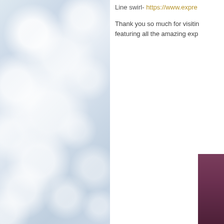[Figure (photo): Soft bokeh background photo with white and light blue blurred circular light orbs on a grey-blue gradient background, occupying the left half of the page.]
Line swirl- https://www.expre
Thank you so much for visiting featuring all the amazing exp
[Figure (photo): Dark mauve/purple panel visible at the far right edge of the page, partially cropped.]